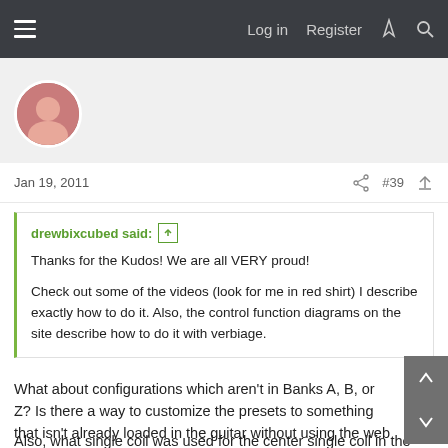Log in   Register
Jan 19, 2011   #39
drewbixcubed said: ↑

Thanks for the Kudos! We are all VERY proud!

Check out some of the videos (look for me in red shirt) I describe exactly how to do it. Also, the control function diagrams on the site describe how to do it with verbiage.
What about configurations which aren't in Banks A, B, or Z? Is there a way to customize the presets to something that isn't already loaded in the guitar without using the web software?
Also, what single coil was used for the center single coil in the HSH/HSHP guitars? If a custom wound, what would be